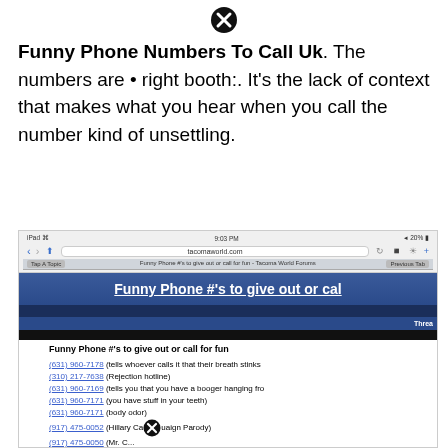[Figure (screenshot): Close button (X icon) at top center of page]
Funny Phone Numbers To Call Uk. The numbers are • right booth:. It's the lack of context that makes what you hear when you call the number kind of unsettling.
[Figure (screenshot): Screenshot of an iPad browser showing tacomaworld.com forum page titled 'Funny Phone #'s to give out or call' with a list of funny phone numbers including (631) 960-7178, (310) 217-7638, (631) 960-7169, (631) 960-7171, (631) 960-7171, (917) 475-0052, and more.]